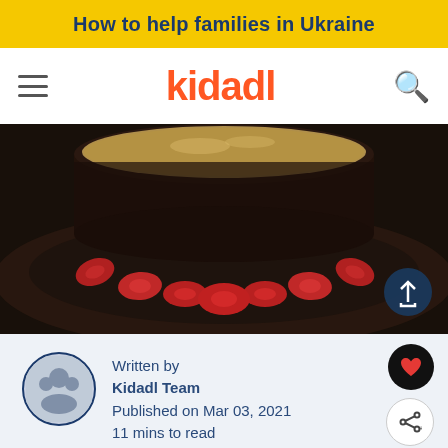How to help families in Ukraine
[Figure (logo): Kidadl website logo with hamburger menu and search icon]
[Figure (photo): Dark photo of a chocolate cake topped with oats/crumble, surrounded by halved strawberries on a plate]
Written by
Kidadl Team
Published on Mar 03, 2021
11 mins to read